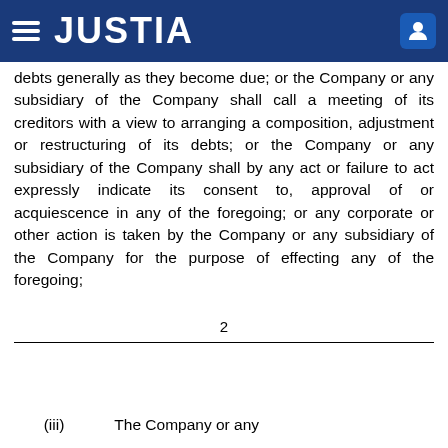JUSTIA
debts generally as they become due; or the Company or any subsidiary of the Company shall call a meeting of its creditors with a view to arranging a composition, adjustment or restructuring of its debts; or the Company or any subsidiary of the Company shall by any act or failure to act expressly indicate its consent to, approval of or acquiescence in any of the foregoing; or any corporate or other action is taken by the Company or any subsidiary of the Company for the purpose of effecting any of the foregoing;
2
(iii)    The Company or any